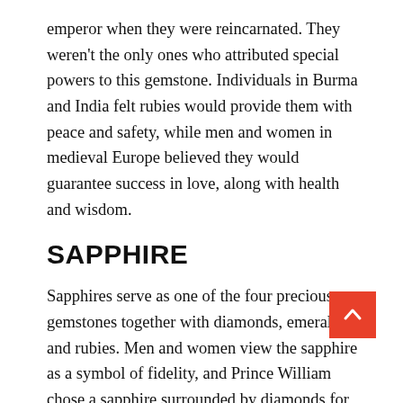emperor when they were reincarnated. They weren't the only ones who attributed special powers to this gemstone. Individuals in Burma and India felt rubies would provide them with peace and safety, while men and women in medieval Europe believed they would guarantee success in love, along with health and wisdom.
SAPPHIRE
Sapphires serve as one of the four precious gemstones together with diamonds, emeralds, and rubies. Men and women view the sapphire as a symbol of fidelity, and Prince William chose a sapphire surrounded by diamonds for Kate Middleton's engagement ring. In fact, sapphires were popular for engagement rings long before the diamond took center stage.
TOPAZ